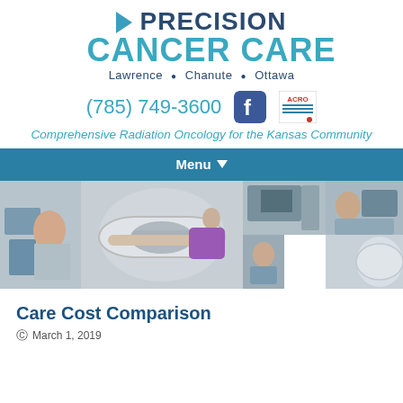[Figure (logo): Precision Cancer Care logo with teal arrow, dark blue PRECISION text, teal CANCER CARE text, and locations Lawrence, Chanute, Ottawa]
(785) 749-3600
[Figure (logo): Facebook icon and ACRO accreditation badge]
Comprehensive Radiation Oncology for the Kansas Community
[Figure (other): Navigation menu bar with Menu dropdown]
[Figure (photo): Strip of medical facility photos showing staff working with patients and medical imaging equipment]
Care Cost Comparison
March 1, 2019